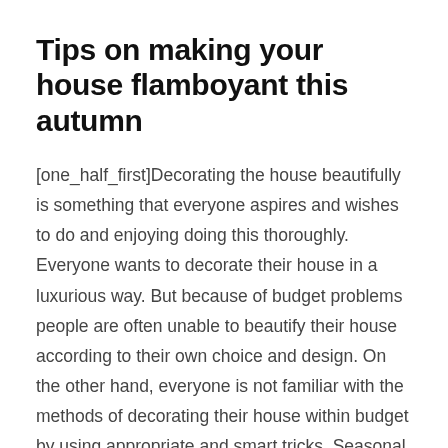Tips on making your house flamboyant this autumn
[one_half_first]Decorating the house beautifully is something that everyone aspires and wishes to do and enjoying doing this thoroughly. Everyone wants to decorate their house in a luxurious way. But because of budget problems people are often unable to beautify their house according to their own choice and design. On the other hand, everyone is not familiar with the methods of decorating their house within budget by using appropriate and smart tricks. Seasonal changes also pay a pivotal role in the interior